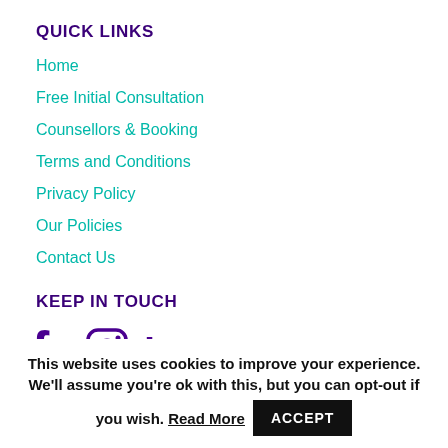QUICK LINKS
Home
Free Initial Consultation
Counsellors & Booking
Terms and Conditions
Privacy Policy
Our Policies
Contact Us
KEEP IN TOUCH
[Figure (other): Social media icons: Facebook, Instagram, LinkedIn in purple color]
This website uses cookies to improve your experience. We'll assume you're ok with this, but you can opt-out if you wish. Read More  ACCEPT